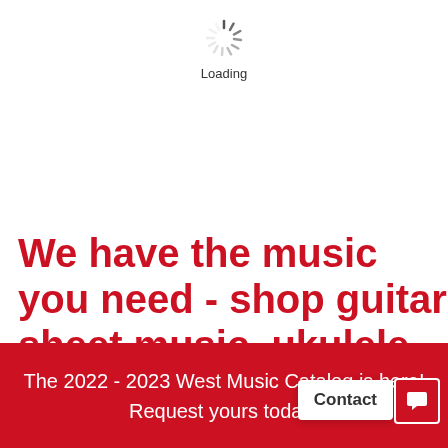[Figure (illustration): Loading spinner icon with radial lines indicating content is loading]
Loading
We have the music you need - shop guitar sheet music, ukulele sheet music, and folk songs for kids
The 2022 - 2023 West Music Catalog is here! Request yours toda...